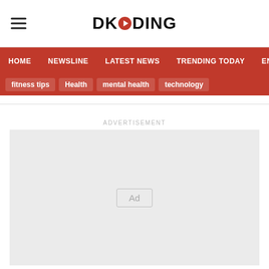DKODING
HOME
NEWSLINE
LATEST NEWS
TRENDING TODAY
ENT
fitness tips
Health
mental health
technology
ADVERTISEMENT
[Figure (other): Advertisement placeholder box with 'Ad' label]